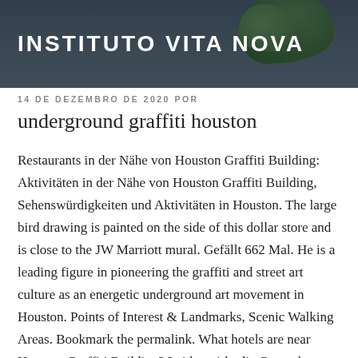INSTITUTO VITA NOVA
14 DE DEZEMBRO DE 2020 POR
underground graffiti houston
Restaurants in der Nähe von Houston Graffiti Building: Aktivitäten in der Nähe von Houston Graffiti Building, Sehenswürdigkeiten und Aktivitäten in Houston. The large bird drawing is painted on the side of this dollar store and is close to the JW Marriott mural. Gefällt 662 Mal. He is a leading figure in pioneering the graffiti and street art culture as an energetic underground art movement in Houston. Points of Interest & Landmarks, Scenic Walking Areas. Bookmark the permalink. What hotels are near Houston Graffiti Building? Leider wirkt die Gegend etwas abschreckend, aber so etwas findet man